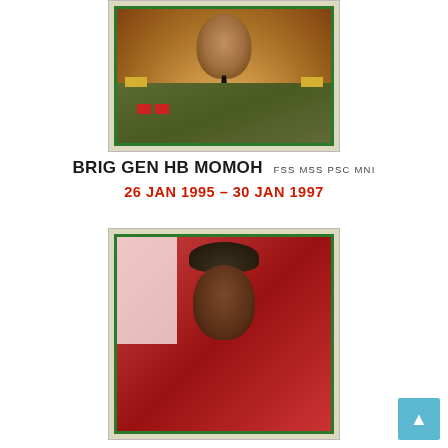[Figure (photo): Portrait photograph of Brig Gen HB Momoh in military uniform with epaulettes and medals, framed with green border]
BRIG GEN HB MOMOH FSS MSS PSC MNI
26 JAN 1995 – 30 JAN 1997
[Figure (photo): Portrait photograph of a military officer wearing a dark beret with badge, against red background]